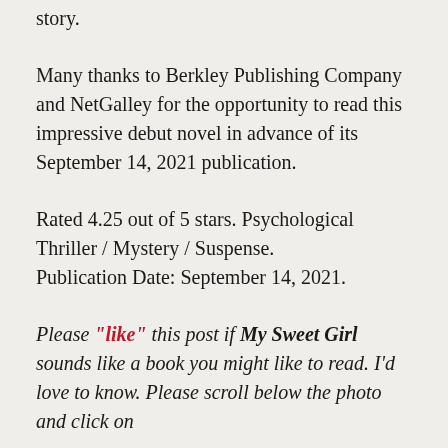...a well-crafted, suspenseful, twisty story.
Many thanks to Berkley Publishing Company and NetGalley for the opportunity to read this impressive debut novel in advance of its September 14, 2021 publication.
Rated 4.25 out of 5 stars. Psychological Thriller / Mystery / Suspense.
Publication Date: September 14, 2021.
Please "like" this post if My Sweet Girl sounds like a book you might like to read. I'd love to know. Please scroll below the photo and click on the red outlined heart on the...